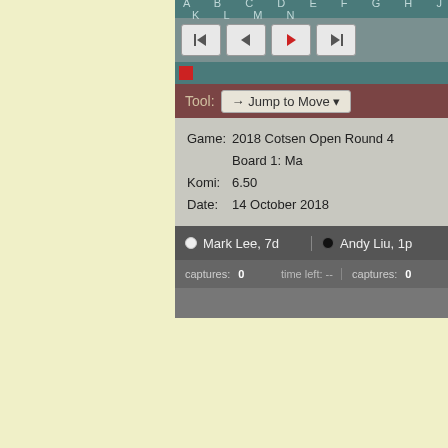[Figure (screenshot): SGF viewer interface showing navigation buttons, tool bar with Jump to Move dropdown, game info panel showing '2018 Cotsen Open Round 4 Board 1: Ma...' with Komi 6.50 and Date 14 October 2018, player names Mark Lee 7d (white) and Andy Liu 1p (black), and captures/time display.]
[link]
[Figure (screenshot): Share/Save button with blue plus icon]
Categories: Cotsen Open,Main Page,U.S./North America
Cotsen Open Day 1: A surpris... delays, dignitaries and free tac...
Sunday October 14, 2018